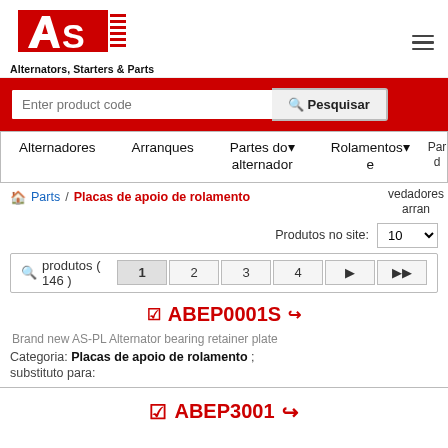[Figure (logo): AS-PL logo — red AS letters with striped lines]
Alternators, Starters & Parts
Enter product code  Pesquisar
Alternadores   Arranques   Partes do alternador   Rolamentos e vedadores   Par... d...
Parts / Placas de apoio de rolamento   vedadores   arran...
Produtos no site: 10
produtos ( 146 )   1  2  3  4
ABEP0001S
Brand new AS-PL Alternator bearing retainer plate
Categoria: Placas de apoio de rolamento ; substituto para:
ABEP3001